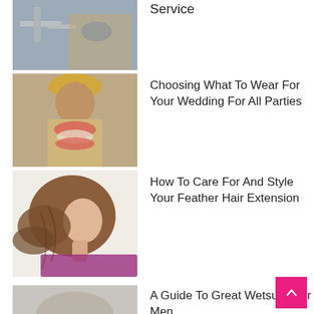[Figure (photo): Person (plumber in blue gloves) fixing pipes under a sink]
Service
[Figure (photo): Indian groom in traditional sherwani with floral garland (mala)]
Choosing What To Wear For Your Wedding For All Parties
[Figure (photo): Woman with curly side-swept hair, smiling, wearing colorful top]
How To Care For And Style Your Feather Hair Extension
[Figure (photo): Partial image of person in wetsuit or similar gear]
A Guide To Great Wetsuits For Men